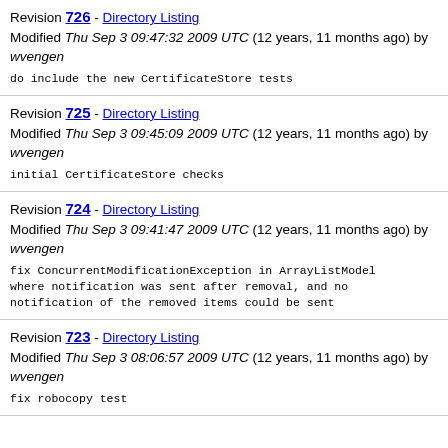Revision 726 - Directory Listing
Modified Thu Sep 3 09:47:32 2009 UTC (12 years, 11 months ago) by wvengen
do include the new CertificateStore tests
Revision 725 - Directory Listing
Modified Thu Sep 3 09:45:09 2009 UTC (12 years, 11 months ago) by wvengen
initial CertificateStore checks
Revision 724 - Directory Listing
Modified Thu Sep 3 09:41:47 2009 UTC (12 years, 11 months ago) by wvengen
fix ConcurrentModificationException in ArrayListModel where notification was sent after removal, and no notification of the removed items could be sent
Revision 723 - Directory Listing
Modified Thu Sep 3 08:06:57 2009 UTC (12 years, 11 months ago) by wvengen
fix robocopy test